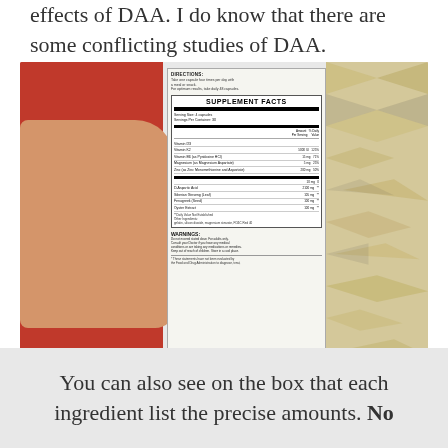effects of DAA. I do know that there are some conflicting studies of DAA.
[Figure (photo): A hand holding a red supplement box showing the side panel with Supplement Facts label, directions, warnings, and FDA disclaimer. The box is a red and purple colored supplement bottle/box held against a patterned quilt background.]
You can also see on the box that each ingredient list the precise amounts. No